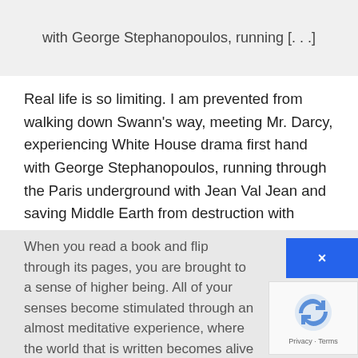with George Stephanopoulos, running [. . .]
Real life is so limiting. I am prevented from walking down Swann’s way, meeting Mr. Darcy, experiencing White House drama first hand with George Stephanopoulos, running through the Paris underground with Jean Val Jean and saving Middle Earth from destruction with Frodo; compared to such existences and experiences, this life is utterly boring. It is for this reason that I still believe in the imaginative power of the written word.
When you read a book and flip through its pages, you are brought to a sense of higher being. All of your senses become stimulated through an almost meditative experience, where the world that is written becomes alive in your